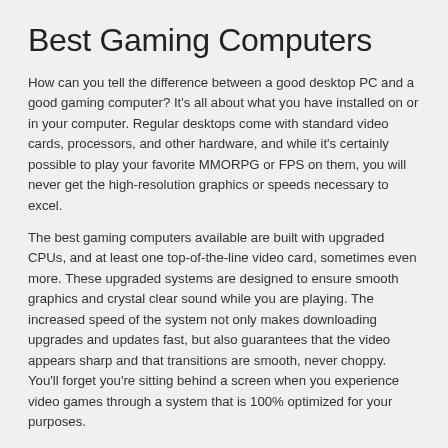Best Gaming Computers
How can you tell the difference between a good desktop PC and a good gaming computer? It's all about what you have installed on or in your computer. Regular desktops come with standard video cards, processors, and other hardware, and while it's certainly possible to play your favorite MMORPG or FPS on them, you will never get the high-resolution graphics or speeds necessary to excel.
The best gaming computers available are built with upgraded CPUs, and at least one top-of-the-line video card, sometimes even more. These upgraded systems are designed to ensure smooth graphics and crystal clear sound while you are playing. The increased speed of the system not only makes downloading upgrades and updates fast, but also guarantees that the video appears sharp and that transitions are smooth, never choppy. You'll forget you're sitting behind a screen when you experience video games through a system that is 100% optimized for your purposes.
ou prefer having portability but still want the upgraded graphics and speed needed for gaming, than the Acer Aspire 3